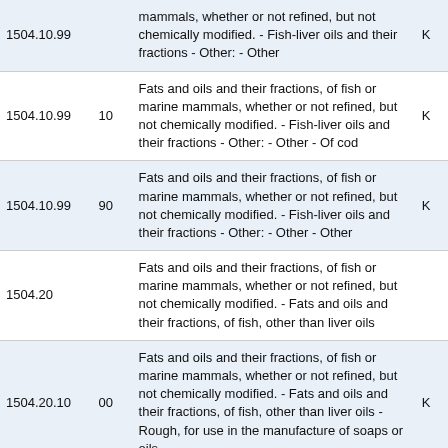| Code | Sub | Description | Unit |
| --- | --- | --- | --- |
| 1504.10.99 |  | Fats and oils and their fractions, of fish or marine mammals, whether or not refined, but not chemically modified. - Fish-liver oils and their fractions - Other: - Other | K |
| 1504.10.99 | 10 | Fats and oils and their fractions, of fish or marine mammals, whether or not refined, but not chemically modified. - Fish-liver oils and their fractions - Other: - Other - Of cod | K |
| 1504.10.99 | 90 | Fats and oils and their fractions, of fish or marine mammals, whether or not refined, but not chemically modified. - Fish-liver oils and their fractions - Other: - Other - Other | K |
| 1504.20 |  | Fats and oils and their fractions, of fish or marine mammals, whether or not refined, but not chemically modified. - Fats and oils and their fractions, of fish, other than liver oils |  |
| 1504.20.10 | 00 | Fats and oils and their fractions, of fish or marine mammals, whether or not refined, but not chemically modified. - Fats and oils and their fractions, of fish, other than liver oils - Rough, for use in the manufacture of soaps or oils | K |
| 1504.20.90 | 00 | Fats and oils and their fractions, of fish or marine mammals, whether or not refined, but not chemically modified. - Fats and oils and their fractions, of fish, other than liver oils - Other | K |